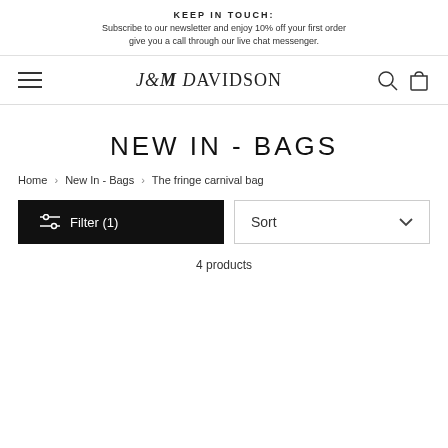KEEP IN TOUCH:
Subscribe to our newsletter and enjoy 10% off your first order give you a call through our live chat messenger.
[Figure (logo): J&M Davidson brand logo with hamburger menu, search icon, and shopping bag icon]
NEW IN - BAGS
Home › New In - Bags › The fringe carnival bag
Filter (1)   Sort
4 products